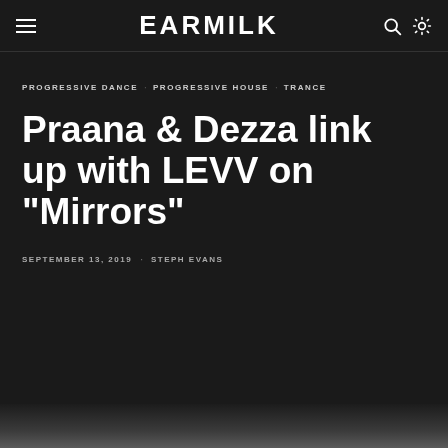EARMILK
PROGRESSIVE DANCE · PROGRESSIVE HOUSE · TRANCE
Praana & Dezza link up with LEVV on "Mirrors"
SEPTEMBER 13, 2019 · STEPH EVANS
[Figure (photo): Bottom thumbnail strip showing partial image]